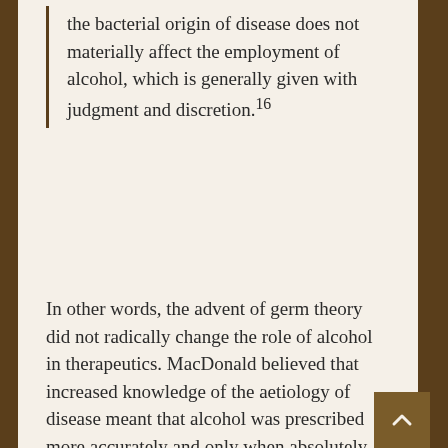the bacterial origin of disease does not materially affect the employment of alcohol, which is generally given with judgment and discretion.¹⁶
In other words, the advent of germ theory did not radically change the role of alcohol in therapeutics. MacDonald believed that increased knowledge of the aetiology of disease meant that alcohol was prescribed more accurately and only when absolutely necessary. He argued that this change was not enough for the medical advocates of temperance reform who warned the profession to stop prescribing alcohol or face 'the high road to therapeutic nihilism.'¹⁷ Which meant that by continuing to prescribe alcohol the medical profession risked doing